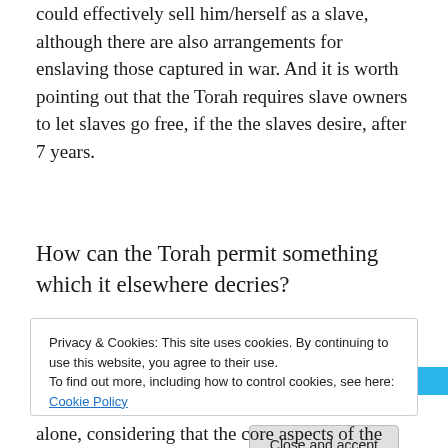could effectively sell him/herself as a slave, although there are also arrangements for enslaving those captured in war. And it is worth pointing out that the Torah requires slave owners to let slaves go free, if the the slaves desire, after 7 years.
[Figure (other): Advertisements banner — DAY ONE blue horizontal banner ad]
How can the Torah permit something which it elsewhere decries?
Privacy & Cookies: This site uses cookies. By continuing to use this website, you agree to their use.
To find out more, including how to control cookies, see here: Cookie Policy
[Close and accept button]
alone, considering that the core aspects of the Torah that